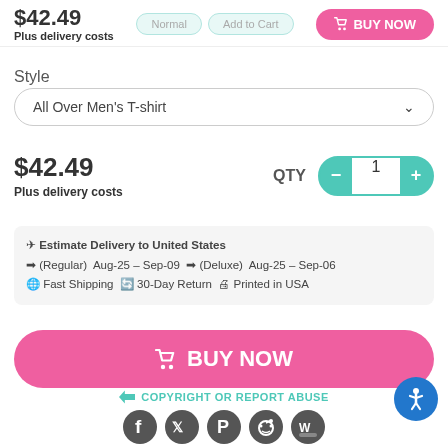$42.49
Plus delivery costs
BUY NOW
Style
All Over Men's T-shirt
$42.49
Plus delivery costs
QTY  1
Estimate Delivery to United States
(Regular)  Aug-25 – Sep-09  (Deluxe)  Aug-25 – Sep-06
Fast Shipping  30-Day Return  Printed in USA
BUY NOW
COPYRIGHT OR REPORT ABUSE